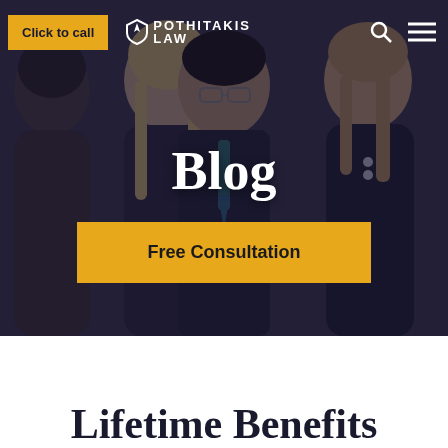[Figure (photo): Hero banner with dark overlay showing four law firm professionals (three women, one man with glasses wearing a suit and tie) standing together. Pothitakis Law firm branding website screenshot.]
Click to call | POTHITAKIS LAW
Blog
Free Consultation
Lifetime Benefits